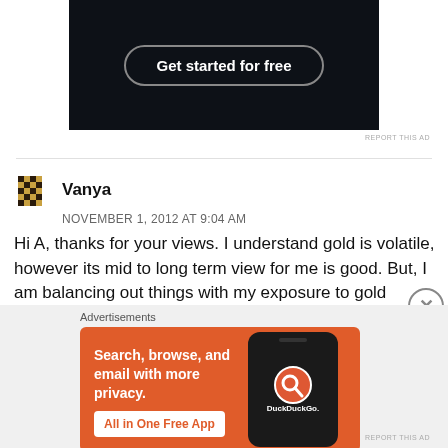[Figure (screenshot): Dark background advertisement with 'Get started for free' button in rounded rectangle border]
REPORT THIS AD
Vanya
NOVEMBER 1, 2012 AT 9:04 AM
Hi A, thanks for your views. I understand gold is volatile, however its mid to long term view for me is good. But, I am balancing out things with my exposure to gold limited to 200 gm (in biscuits).
[Figure (screenshot): DuckDuckGo advertisement on orange background: Search, browse, and email with more privacy. All in One Free App.]
REPORT THIS AD